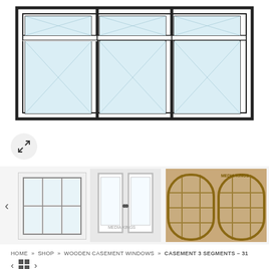[Figure (schematic): Technical line drawing of a 3-segment casement window with two horizontal rails visible in the upper portion of each segment. Light blue glass areas shown with diagonal cross lines.]
[Figure (screenshot): Product thumbnail gallery row showing three images: left is a schematic drawing of a 6-pane window grid, center is a photo of white double casement doors, right is a photo of wooden arched multi-pane windows.]
HOME » SHOP » WOODEN CASEMENT WINDOWS » CASEMENT 3 SEGMENTS – 31
Casement 3 segments – 31